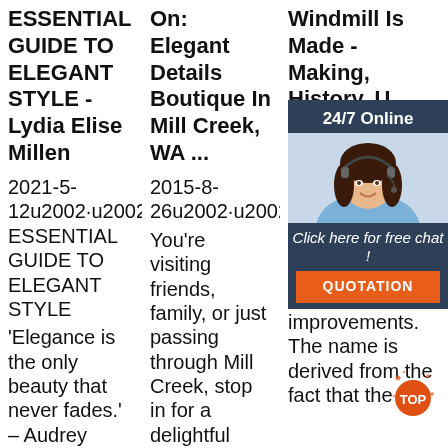ESSENTIAL GUIDE TO ELEGANT STYLE - Lydia Elise Millen
2021-5-12u2002·u2002THE ESSENTIAL GUIDE TO ELEGANT STYLE 'Elegance is the only beauty that never fades.' – Audrey
On: Elegant Details Boutique In Mill Creek, WA ...
2015-8-26u2002·u2002Whether you're visiting friends, family, or just passing through Mill Creek, stop in for a delightful shopping adventure at Elegant Details Boutique! I'm
Windmill Is Made - Making, History, U... P...
The... is po... ha... so... significant improvements. The name is derived from the fact that the
[Figure (other): Chat widget overlay with woman wearing headset, '24/7 Online' header, 'Click here for free chat!' text, and orange QUOTATION button]
[Figure (other): Orange and red TOP badge/icon in bottom right area]